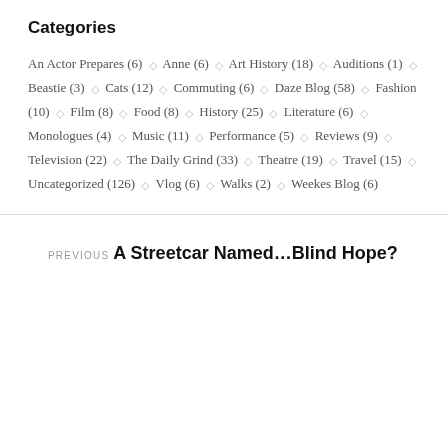Categories
An Actor Prepares (6) ◇ Anne (6) ◇ Art History (18) ◇ Auditions (1) ◇ Beastie (3) ◇ Cats (12) ◇ Commuting (6) ◇ Daze Blog (58) ◇ Fashion (10) ◇ Film (8) ◇ Food (8) ◇ History (25) ◇ Literature (6) ◇ Monologues (4) ◇ Music (11) ◇ Performance (5) ◇ Reviews (9) ◇ Television (22) ◇ The Daily Grind (33) ◇ Theatre (19) ◇ Travel (15) ◇ Uncategorized (126) ◇ Vlog (6) ◇ Walks (2) ◇ Weekes Blog (6)
PREVIOUS
A Streetcar Named…Blind Hope?